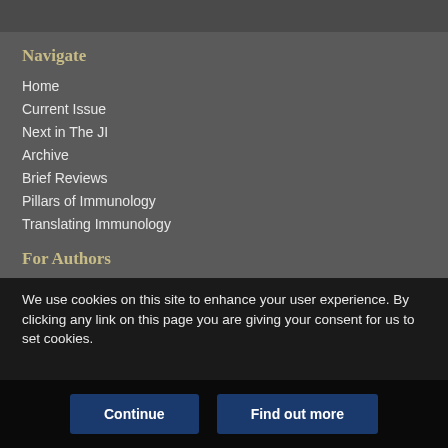Navigate
Home
Current Issue
Next in The JI
Archive
Brief Reviews
Pillars of Immunology
Translating Immunology
For Authors
Submit a Manuscript
We use cookies on this site to enhance your user experience. By clicking any link on this page you are giving your consent for us to set cookies.
Continue
Find out more